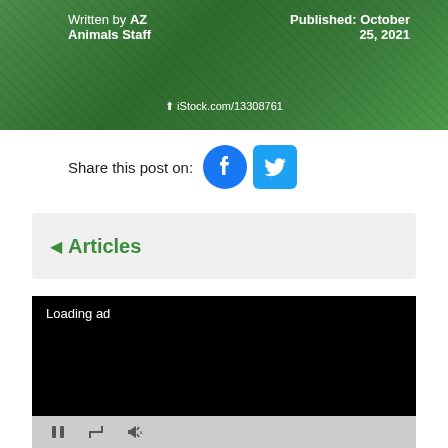Written by AZ Animals Staff | Published: October 25, 2021 | iStock.com/13308761
Share this post on:
[Figure (screenshot): Video player showing black screen with 'Loading ad' text and playback controls (pause, resize, mute)]
◄ Articles